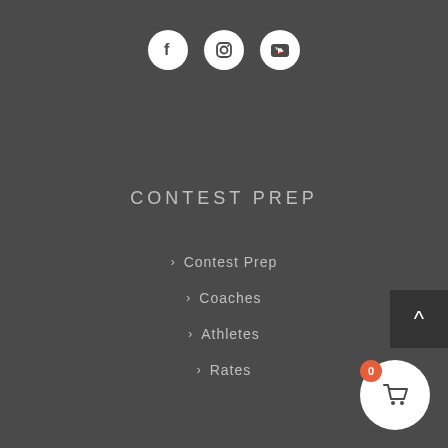[Figure (logo): Social media icons: Facebook, Instagram, YouTube — white circles on dark background]
CONTEST PREP
> Contest Prep
> Coaches
> Athletes
> Rates
[Figure (other): Back to top button — dark square with upward caret arrow]
[Figure (other): Shopping cart button — white circle with cart icon and orange badge showing 0]